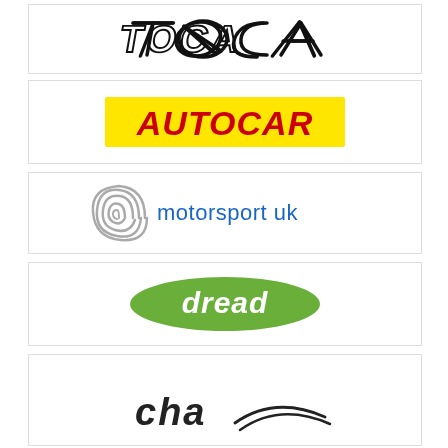[Figure (logo): TOCA logo in black stylized text with racing/italic style lettering]
[Figure (logo): Autocar logo: white bold italic text on bright yellow background rectangle]
[Figure (logo): Motorsport UK logo: grey fingerprint swirl icon with blue text 'motorsport uk']
[Figure (logo): Dread logo: white italic text on green oval/pill shaped background]
[Figure (logo): Partially visible logo at bottom of page]